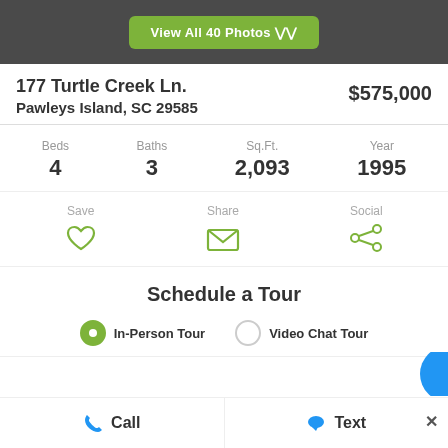View All 40 Photos
177 Turtle Creek Ln.
Pawleys Island, SC 29585
$575,000
| Beds | Baths | Sq.Ft. | Year |
| --- | --- | --- | --- |
| 4 | 3 | 2,093 | 1995 |
Save
Share
Social
Schedule a Tour
In-Person Tour
Video Chat Tour
Call
Text